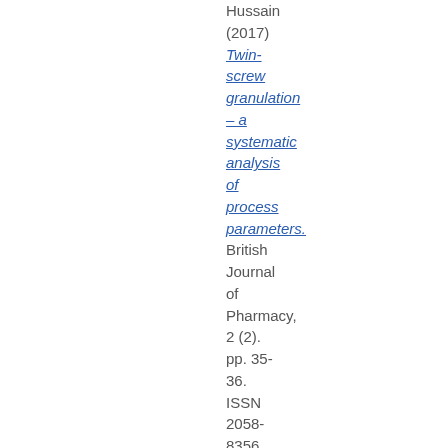Hussain (2017) Twin-screw granulation – a systematic analysis of process parameters. British Journal of Pharmacy, 2 (2). pp. 35-36. ISSN 2058-8356